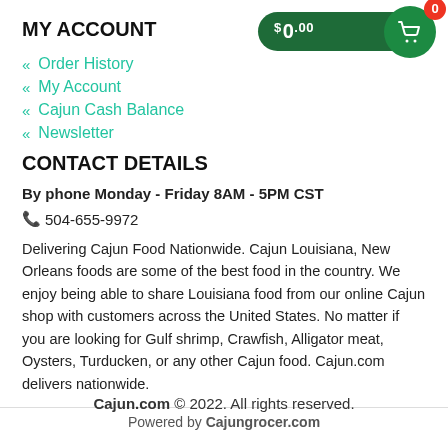MY ACCOUNT
[Figure (other): Shopping cart widget showing $0.00 with a green cart icon and red badge showing 0]
Order History
My Account
Cajun Cash Balance
Newsletter
CONTACT DETAILS
By phone Monday - Friday 8AM - 5PM CST
504-655-9972
Delivering Cajun Food Nationwide. Cajun Louisiana, New Orleans foods are some of the best food in the country. We enjoy being able to share Louisiana food from our online Cajun shop with customers across the United States. No matter if you are looking for Gulf shrimp, Crawfish, Alligator meat, Oysters, Turducken, or any other Cajun food. Cajun.com delivers nationwide.
Cajun.com © 2022. All rights reserved. Powered by Cajungrocer.com